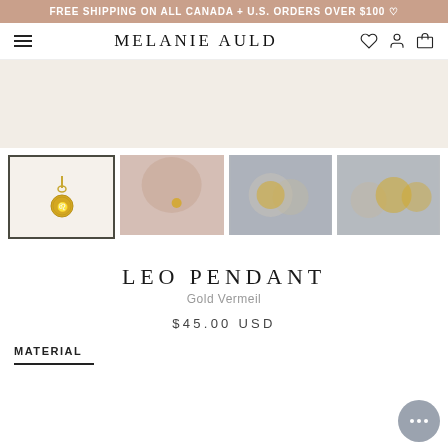FREE SHIPPING ON ALL CANADA + U.S. ORDERS OVER $100 ♡
MELANIE AULD
[Figure (screenshot): Product thumbnail gallery: first image shows gold coin Leo pendant on cream background (selected, with dark border); second shows model wearing pendant at neckline; third shows close-up of coin pendants on bokeh background; fourth shows multiple coin pendants side by side.]
LEO PENDANT
Gold Vermeil
$45.00 USD
MATERIAL